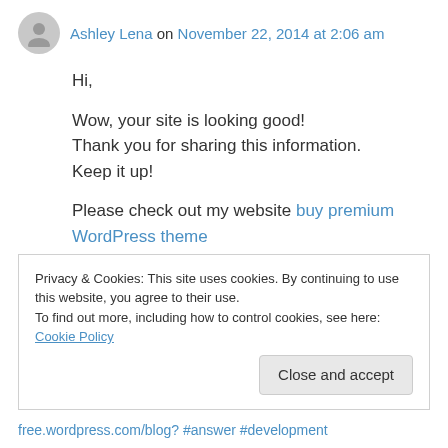Ashley Lena on November 22, 2014 at 2:06 am
Hi,

Wow, your site is looking good!
Thank you for sharing this information.
Keep it up!

Please check out my website buy premium WordPress theme

with kind regards,
Privacy & Cookies: This site uses cookies. By continuing to use this website, you agree to their use.
To find out more, including how to control cookies, see here: Cookie Policy
Close and accept
free.wordpress.com/blog? #answer #development